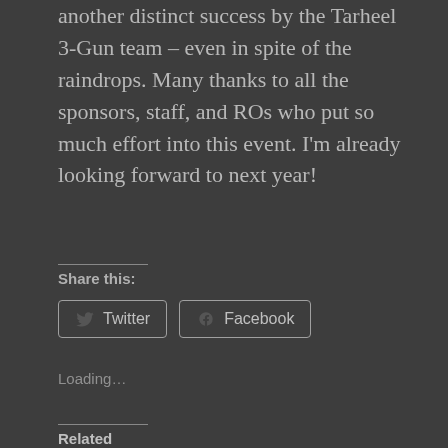another distinct success by the Tarheel 3-Gun team – even in spite of the raindrops. Many thanks to all the sponsors, staff, and ROs who put so much effort into this event. I'm already looking forward to next year!
Share this:
[Figure (screenshot): Twitter and Facebook share buttons]
Loading...
Related
Tarheel 3-Gun Challenge: If you missed it, you missed out!
April 9, 2014
In "3-Gun"
Why So Serious?
August 2, 2014
In "3-Gun"
Guns AND Barbells? Yes.